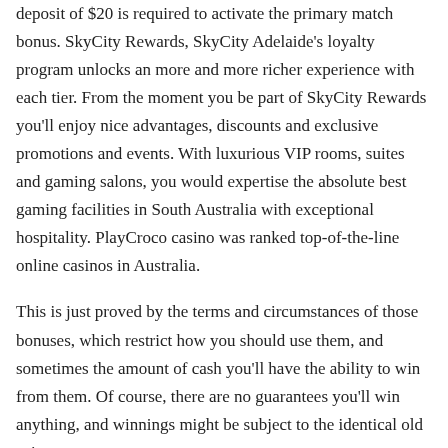deposit of $20 is required to activate the primary match bonus. SkyCity Rewards, SkyCity Adelaide's loyalty program unlocks an more and more richer experience with each tier. From the moment you be part of SkyCity Rewards you'll enjoy nice advantages, discounts and exclusive promotions and events. With luxurious VIP rooms, suites and gaming salons, you would expertise the absolute best gaming facilities in South Australia with exceptional hospitality. PlayCroco casino was ranked top-of-the-line online casinos in Australia.
This is just proved by the terms and circumstances of those bonuses, which restrict how you should use them, and sometimes the amount of cash you'll have the ability to win from them. Of course, there are no guarantees you'll win anything, and winnings might be subject to the identical old suite